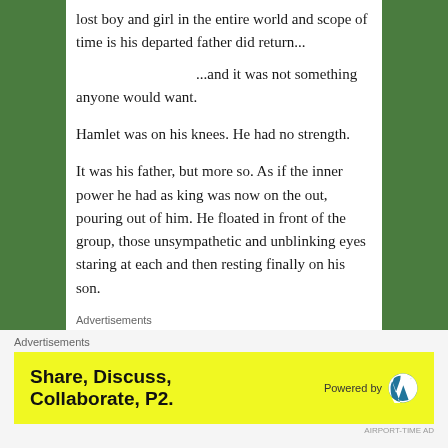lost boy and girl in the entire world and scope of time is his departed father did return...
...and it was not something anyone would want.
Hamlet was on his knees. He had no strength.
It was his father, but more so. As if the inner power he had as king was now on the out, pouring out of him. He floated in front of the group, those unsympathetic and unblinking eyes staring at each and then resting finally on his son.
Advertisements
[Figure (logo): Longreads logo with red circle icon and text 'LONGREADS' followed by tagline 'Bringing you the best stories on the web since 2009.']
Advertisements
[Figure (infographic): Yellow banner advertisement reading 'Share, Discuss, Collaborate, P2.' with 'Powered by' and WordPress logo on the right.]